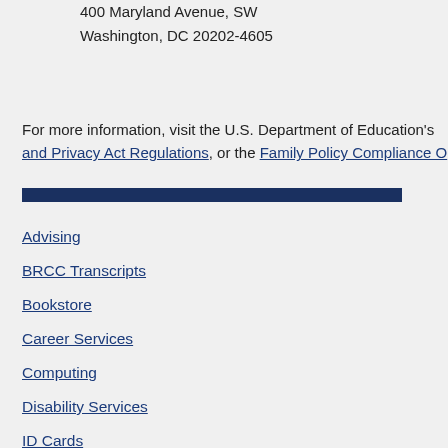400 Maryland Avenue, SW
Washington, DC 20202-4605
For more information, visit the U.S. Department of Education's and Privacy Act Regulations, or the Family Policy Compliance O
Advising
BRCC Transcripts
Bookstore
Career Services
Computing
Disability Services
ID Cards